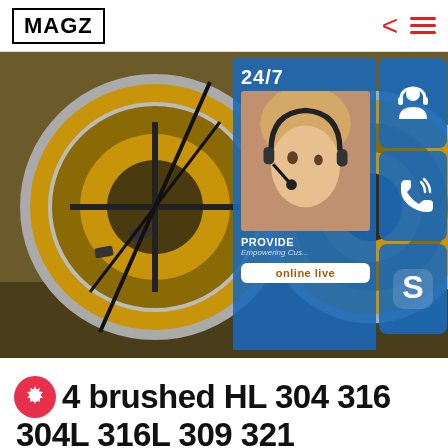MAGZ
[Figure (photo): Large yellow/gold steel coils stacked horizontally in an industrial setting, with a customer service overlay panel showing 24/7 support, a woman with headset, phone icon, Skype icon, and 'online live' button]
No.4 brushed HL 304 316 304L 316L 309 321